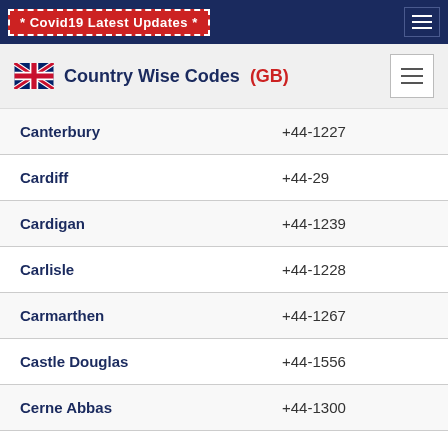* Covid19 Latest Updates *
Country Wise Codes (GB)
| City | Code |
| --- | --- |
| Canterbury | +44-1227 |
| Cardiff | +44-29 |
| Cardigan | +44-1239 |
| Carlisle | +44-1228 |
| Carmarthen | +44-1267 |
| Castle Douglas | +44-1556 |
| Cerne Abbas | +44-1300 |